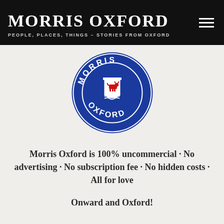MORRIS OXFORD
PEOPLE, PLACES, THINGS – STORIES FROM OXFORD
[Figure (logo): Morris Oxford circular badge logo with blue background, white text reading MORRIS and OXFORD around the border, and a red ox on a shield in the center with wave lines below]
Morris Oxford is 100% uncommercial · No advertising · No subscription fee · No hidden costs · All for love
Onward and Oxford!